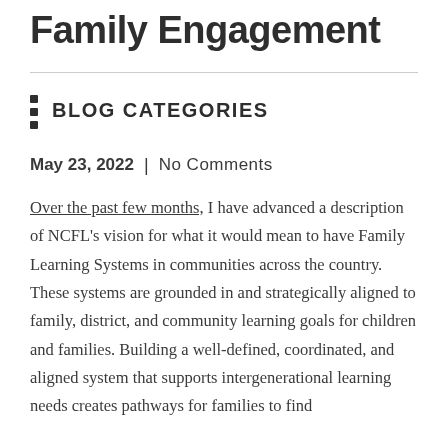Family Engagement
BLOG CATEGORIES
May 23, 2022  |  No Comments
Over the past few months, I have advanced a description of NCFL's vision for what it would mean to have Family Learning Systems in communities across the country. These systems are grounded in and strategically aligned to family, district, and community learning goals for children and families. Building a well-defined, coordinated, and aligned system that supports intergenerational learning needs creates pathways for families to find